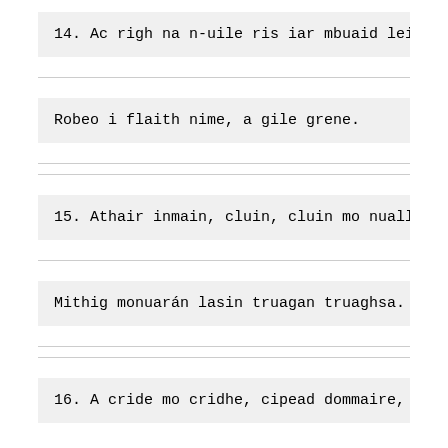14. Ac righ na n-uile ris iar mbuaid leir
Robeo i flaith nime, a gile grene.
15. Athair inmain, cluin, cluin mo nualls
Mithig monuarán lasin truagan truaghsa.
16. A cride mo cridhe, cipead dommaire,